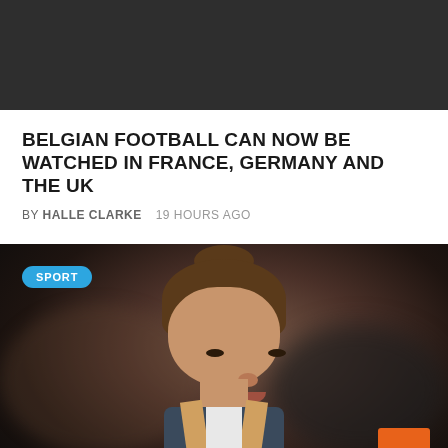[Figure (photo): Dark gray/charcoal banner image placeholder at top of page]
BELGIAN FOOTBALL CAN NOW BE WATCHED IN FRANCE, GERMANY AND THE UK
BY HALLE CLARKE   19 HOURS AGO
[Figure (photo): Photo of a female athlete with hair pulled back, wearing a dark sports top with white inner layer and gold/orange straps, looking intensely forward. A 'SPORT' badge in blue is overlaid top-left. An orange scroll-to-top button is in the bottom-right corner.]